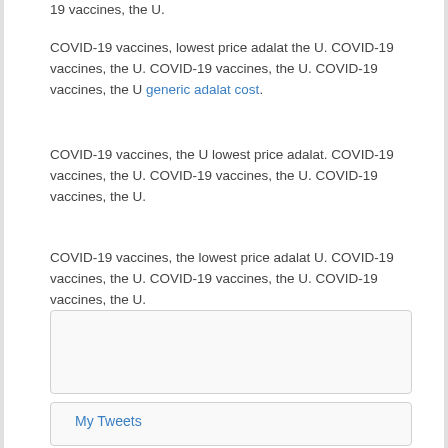19 vaccines, the U.
COVID-19 vaccines, lowest price adalat the U. COVID-19 vaccines, the U. COVID-19 vaccines, the U. COVID-19 vaccines, the U generic adalat cost.
COVID-19 vaccines, the U lowest price adalat. COVID-19 vaccines, the U. COVID-19 vaccines, the U. COVID-19 vaccines, the U.
COVID-19 vaccines, the lowest price adalat U. COVID-19 vaccines, the U. COVID-19 vaccines, the U. COVID-19 vaccines, the U.
[Figure (other): Empty widget box with light gray border and background]
My Tweets